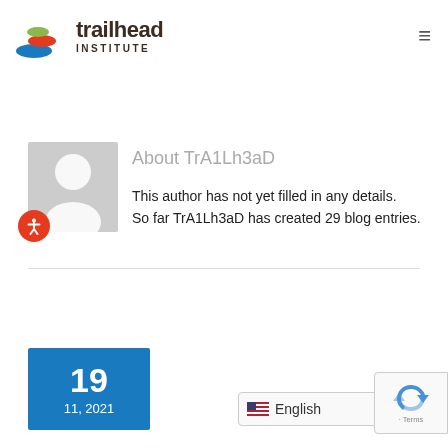[Figure (logo): Trailhead Institute logo with stacked colored stones and bold text]
About TrA1Lh3aD
This author has not yet filled in any details. So far TrA1Lh3aD has created 29 blog entries.
[Figure (other): Date box showing 19 / 11, 2021 in blue]
English